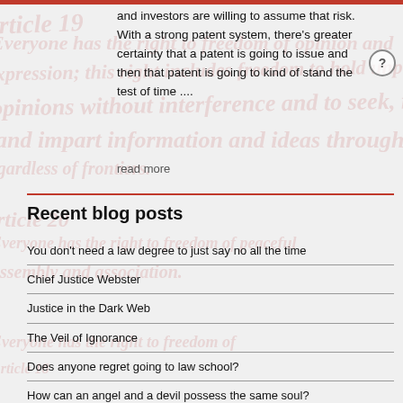and investors are willing to assume that risk. With a strong patent system, there's greater certainty that a patent is going to issue and then that patent is going to kind of stand the test of time ....
read more
Recent blog posts
You don't need a law degree to just say no all the time
Chief Justice Webster
Justice in the Dark Web
The Veil of Ignorance
Does anyone regret going to law school?
How can an angel and a devil possess the same soul?